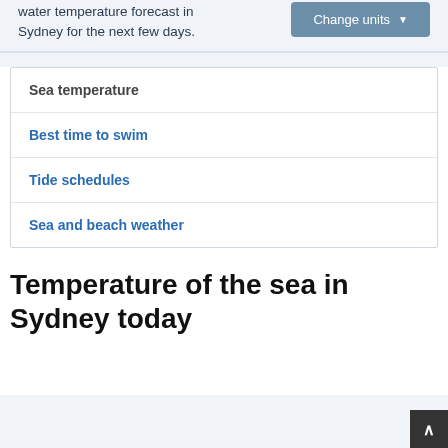water temperature forecast in Sydney for the next few days.
[Figure (screenshot): A 'Change units' dropdown button in blue-grey]
| Sea temperature |
| Best time to swim |
| Tide schedules |
| Sea and beach weather |
Temperature of the sea in Sydney today